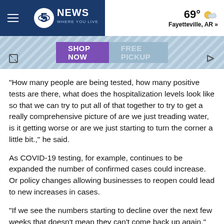5NEWS WHERE YOU LIVE — 69° Fayetteville, AR »
[Figure (screenshot): Advertisement banner with 'SHOP NOW' and 'FREE PICKUP' buttons on a light blue striped background]
"How many people are being tested, how many positive tests are there, what does the hospitalization levels look like so that we can try to put all of that together to try to get a really comprehensive picture of are we just treading water, is it getting worse or are we just starting to turn the corner a little bit.," he said.
As COVID-19 testing, for example, continues to be expanded the number of confirmed cases could increase. Or policy changes allowing businesses to reopen could lead to new increases in cases.
"If we see the numbers starting to decline over the next few weeks that doesn't mean they can't come back up again,"